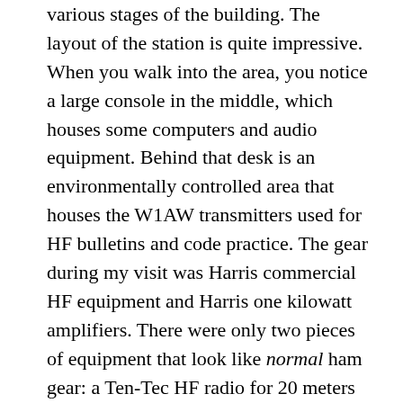various stages of the building. The layout of the station is quite impressive. When you walk into the area, you notice a large console in the middle, which houses some computers and audio equipment. Behind that desk is an environmentally controlled area that houses the W1AW transmitters used for HF bulletins and code practice. The gear during my visit was Harris commercial HF equipment and Harris one kilowatt amplifiers. There were only two pieces of equipment that look like normal ham gear: a Ten-Tec HF radio for 20 meters along with a Command Technologies amplifier. When these stations operate on all bands on CW, it is really interesting to see all the LED power meters on the HF rigs sending code in unison. The next area to see was the operating “studios”. There are three studios: one houses packet and satellite equipment, one had some HF equipment and the last has more HF equipment. The major manufacturers frequently donate equipment to the station to ensure each is well